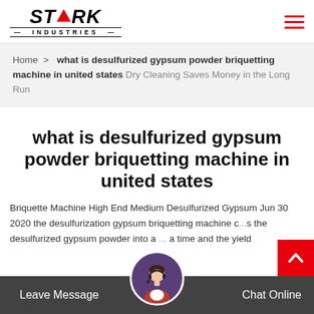[Figure (logo): Stark Industries logo with red triangle accent and double-line border around INDUSTRIES text]
Home > what is desulfurized gypsum powder briquetting machine in united states Dry Cleaning Saves Money in the Long Run
what is desulfurized gypsum powder briquetting machine in united states
Briquette Machine High End Medium Desulfurized Gypsum Jun 30 2020 the desulfurization gypsum briquetting machine c... the desulfurized gypsum powder into a ... a time and the yield
Leave Message   Chat Online